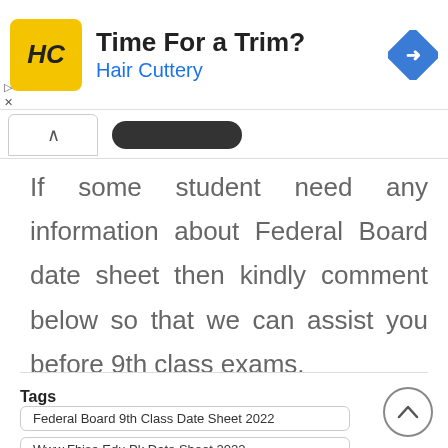[Figure (other): Advertisement banner for Hair Cuttery with logo, title 'Time For a Trim?', subtitle 'Hair Cuttery', and a blue diamond navigation icon.]
If some student need any information about Federal Board date sheet then kindly comment below so that we can assist you before 9th class exams.
Tags   Federal Board 9th Class Date Sheet 2022   Www.Fbise.Edu.Pk Date Sheet 2022